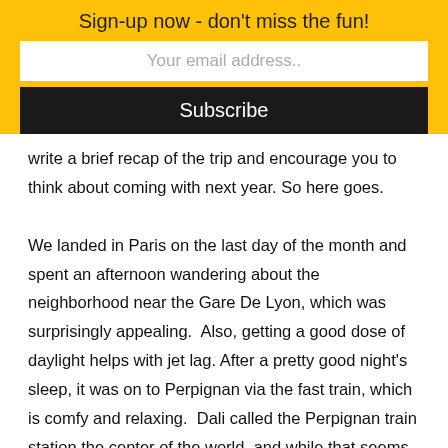Sign-up now - don't miss the fun!
Your email address..
Subscribe
write a brief recap of the trip and encourage you to think about coming with next year. So here goes.

We landed in Paris on the last day of the month and spent an afternoon wandering about the neighborhood near the Gare De Lyon, which was surprisingly appealing.  Also, getting a good dose of daylight helps with jet lag. After a pretty good night's sleep, it was on to Perpignan via the fast train, which is comfy and relaxing.  Dali called the Perpignan train station the center of the world, and while that seems a bit excessive, the city is growing on me. We stayed in the historic center, full of twisty streets and fun shops and a divine place to eat, Restaurant Le St. Jean.   (In case you ever find yourself there, it is right next to the Cathedral St. Jean and you actually eat in a courtyard right next to the church.)